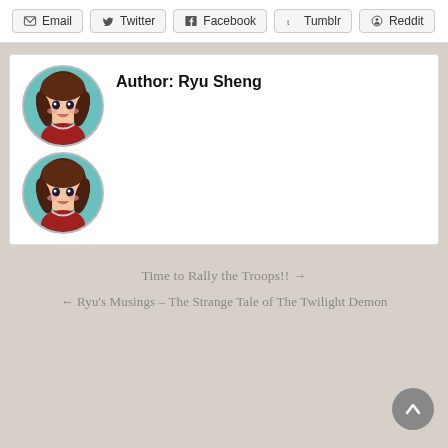Email | Twitter | Facebook | Tumblr | Reddit
[Figure (illustration): Author avatar: chibi anime character with brown hair, blue-teal background, in red outfit — shown twice stacked vertically]
Author: Ryu Sheng
Time to Rally the Troops!! →
← Ryu's Musings – The Strange Tale of The Twilight Demon